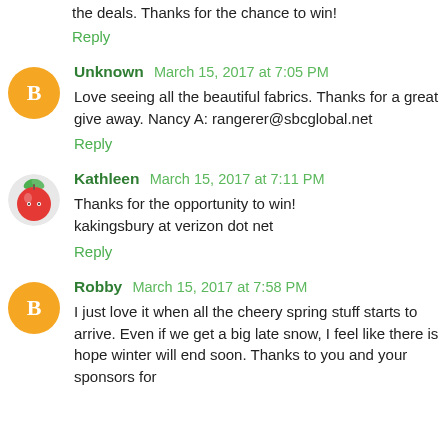the deals. Thanks for the chance to win!
Reply
Unknown March 15, 2017 at 7:05 PM
Love seeing all the beautiful fabrics. Thanks for a great give away. Nancy A: rangerer@sbcglobal.net
Reply
Kathleen March 15, 2017 at 7:11 PM
Thanks for the opportunity to win!
kakingsbury at verizon dot net
Reply
Robby March 15, 2017 at 7:58 PM
I just love it when all the cheery spring stuff starts to arrive. Even if we get a big late snow, I feel like there is hope winter will end soon. Thanks to you and your sponsors for